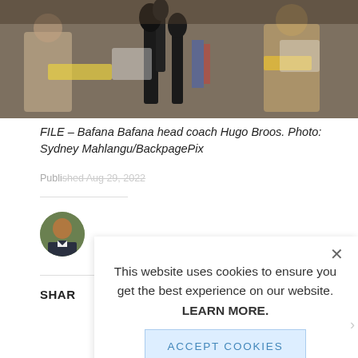[Figure (photo): Press conference photo showing Bafana Bafana head coach Hugo Broos with microphones in foreground]
FILE – Bafana Bafana head coach Hugo Broos. Photo: Sydney Mahlangu/BackpagePix
Published Aug 29, 2022
[Figure (photo): Author avatar - circular headshot of a man in a suit]
SHARE
This website uses cookies to ensure you get the best experience on our website.

LEARN MORE.

ACCEPT COOKIES